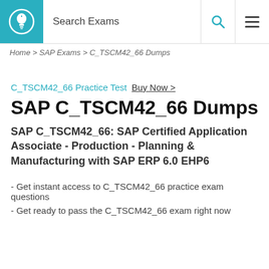Search Exams
Home > SAP Exams > C_TSCM42_66 Dumps
C_TSCM42_66 Practice Test Buy Now >
SAP C_TSCM42_66 Dumps
SAP C_TSCM42_66: SAP Certified Application Associate - Production - Planning & Manufacturing with SAP ERP 6.0 EHP6
- Get instant access to C_TSCM42_66 practice exam questions
- Get ready to pass the C_TSCM42_66 exam right now